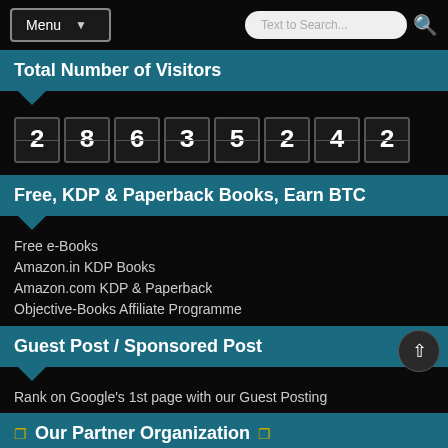Menu | Text to Search...
Total Number of Visitors
28635242
Free, KDP & Paperback Books, Earn BTC
Free e-Books
Amazon.in KDP Books
Amazon.com KDP & Paperback
Objective-Books Affiliate Programme
Guest Post / Sponsored Post
Rank on Google's 1st page with our Guest Posting
Our Partner Organization
Event Management & Interior Designing
★ MazicDoor.com ★